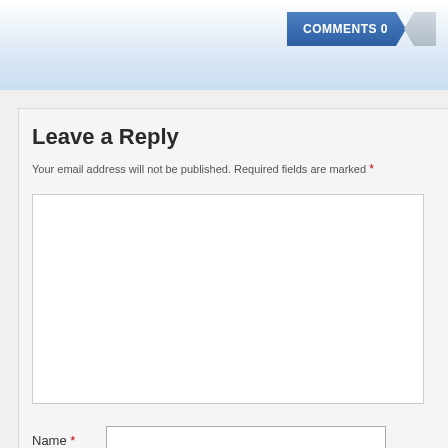COMMENTS 0
Leave a Reply
Your email address will not be published. Required fields are marked *
[Figure (screenshot): Large comment text input area (empty textarea)]
Name *
Email *